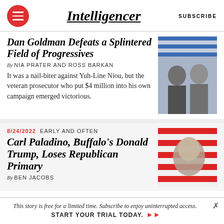Intelligencer | SUBSCRIBE
Dan Goldman Defeats a Splintered Field of Progressives
By NIA PRATER AND ROSS BARKAN
It was a nail-biter against Yuh-Line Niou, but the veteran prosecutor who put $4 million into his own campaign emerged victorious.
[Figure (photo): Photo of two people, man in suit and woman, black and white with blue striped background]
8/24/2022  EARLY AND OFTEN
Carl Paladino, Buffalo's Donald Trump, Loses Republican Primary
By BEN JACOBS
[Figure (photo): Photo of Carl Paladino in black and white with red and white stripes background]
This story is free for a limited time. Subscribe to enjoy uninterrupted access.  START YOUR TRIAL TODAY. ➜➜